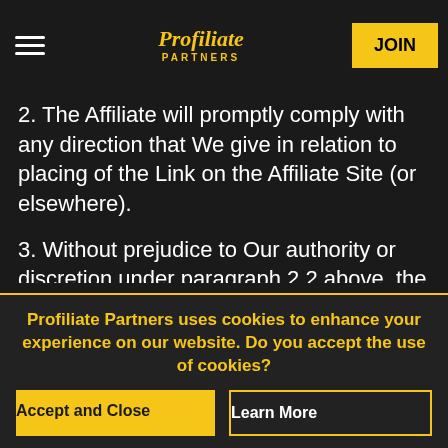Profiliate Partners — JOIN
2. The Affiliate will promptly comply with any direction that We give in relation to placing of the Link on the Affiliate Site (or elsewhere).
3. Without prejudice to Our authority or discretion under paragraph 2.2 above, the Affiliate will not:
a. in any way reproduce the Website, any part of its contents or the Brands other than to the extent permitted in this
Profiliate Partners uses cookies to enhance your experience on our website. Do you accept the use of cookies?
Accept and Close
Learn More